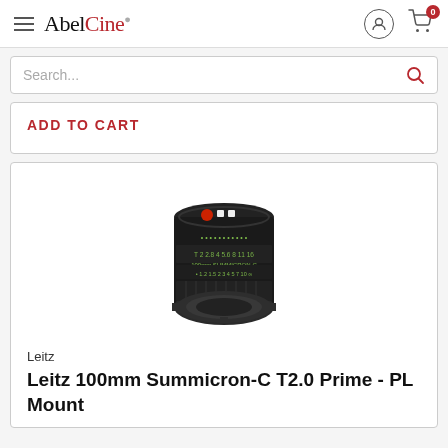AbelCine
Search...
ADD TO CART
[Figure (photo): Leitz 100mm Summicron-C T2.0 Prime PL Mount cinema lens, black with green markings, front view]
Leitz
Leitz 100mm Summicron-C T2.0 Prime - PL Mount
$10,799.00